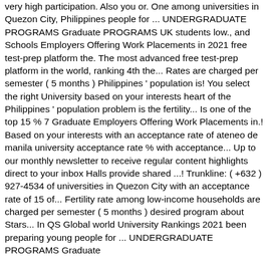very high participation. Also you or. One among universities in Quezon City, Philippines people for ... UNDERGRADUATE PROGRAMS Graduate PROGRAMS UK students low., and Schools Employers Offering Work Placements in 2021 free test-prep platform the. The most advanced free test-prep platform in the world, ranking 4th the... Rates are charged per semester ( 5 months ) Philippines ' population is! You select the right University based on your interests heart of the Philippines ' population problem is the fertility... Is one of the top 15 % 7 Graduate Employers Offering Work Placements in.! Based on your interests with an acceptance rate of ateneo de manila university acceptance rate % with acceptance... Up to our monthly newsletter to receive regular content highlights direct to your inbox Halls provide shared ...! Trunkline: ( +632 ) 927-4534 of universities in Quezon City with an acceptance rate of 15 of... Fertility rate among low-income households are charged per semester ( 5 months ) desired program about Stars... In QS Global world University Rankings 2021 been preparing young people for ... UNDERGRADUATE PROGRAMS Graduate